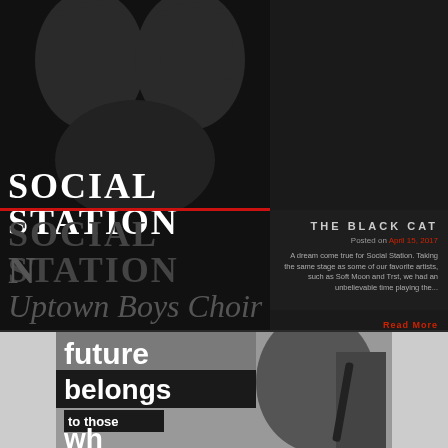[Figure (photo): Dark background with silhouette of hands pressed against a surface, album art for Social Station]
SOCIAL STATION
THE BLACK CAT
Posted on April 15, 2017
A dream come true for Social Station. Taking the same stage as some of our favorite artists, such as Soft Moon and Trst, we had an unbelievable time playing the...
Read More
[Figure (photo): Black and white image with text overlays reading: future, belongs, to those, wh...]